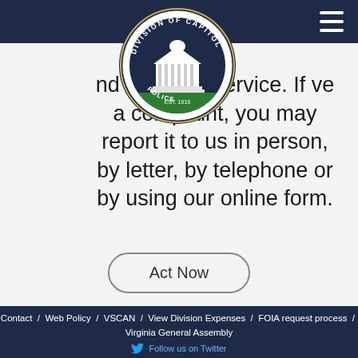[Figure (logo): Division of Capitol Police, Commonwealth of Virginia circular badge logo with building illustration]
nd impartial service. If ve a complaint, you may report it to us in person, by letter, by telephone or by using our online form.
Act Now
Contact / Web Policy / VSCAN / View Division Expenses / FOIA request process / Virginia General Assembly
Follow us on Twitter